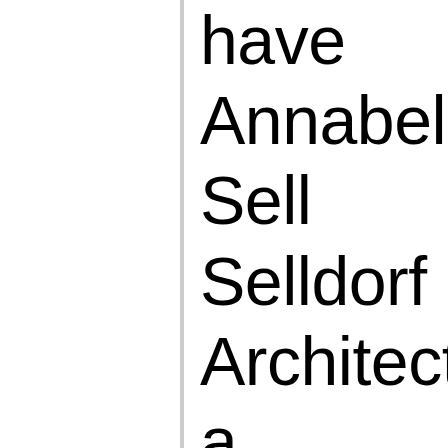have Annabelle Selldorf Architects and this ambitious and meaningful project to create a place for our collection. Selldorf's appreciation for Shaker matched by their ingenuity talent and we are indebted passion. Selldorf is h